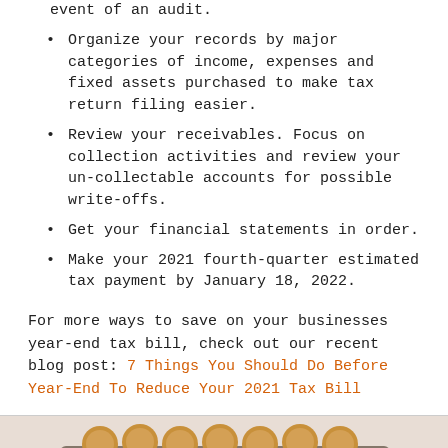event of an audit.
Organize your records by major categories of income, expenses and fixed assets purchased to make tax return filing easier.
Review your receivables. Focus on collection activities and review your un-collectable accounts for possible write-offs.
Get your financial statements in order.
Make your 2021 fourth-quarter estimated tax payment by January 18, 2022.
For more ways to save on your businesses year-end tax bill, check out our recent blog post: 7 Things You Should Do Before Year-End To Reduce Your 2021 Tax Bill
[Figure (photo): Photo of baked goods (rolls/bread) in a baking pan]